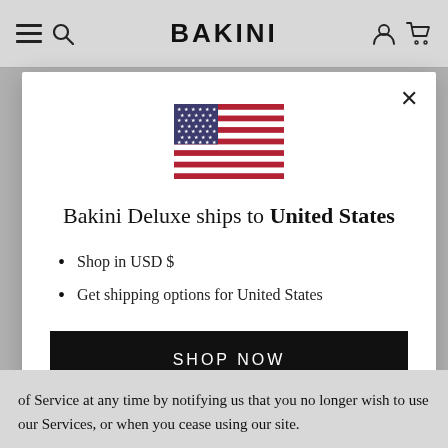BAKINI
[Figure (illustration): US flag emoji/illustration centered in modal]
Bakini Deluxe ships to United States
Shop in USD $
Get shipping options for United States
SHOP NOW
CHANGE SHIPPING COUNTRY
of Service at any time by notifying us that you no longer wish to use our Services, or when you cease using our site.